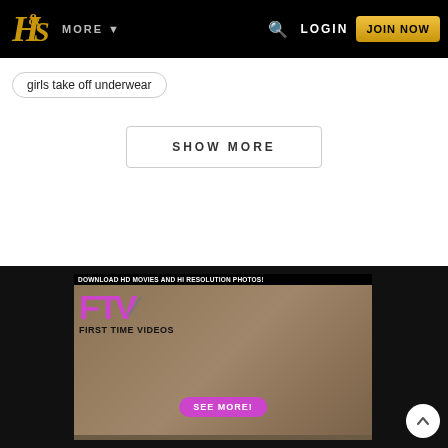H&S | MORE | LOGIN | JOIN NOW
girls take off underwear
SHOW MORE
[Figure (photo): FTV (First Time Videos) advertisement banner with text 'DOWNLOAD HD MOVIES AND HI RESOLUTION PHOTOS!' and a 'SEE MORE!' button]
DOWNLOAD HD MOVIES AND HI RESOLUTION PHOTOS!
FTV FIRST TIME VIDEOS
SEE MORE!